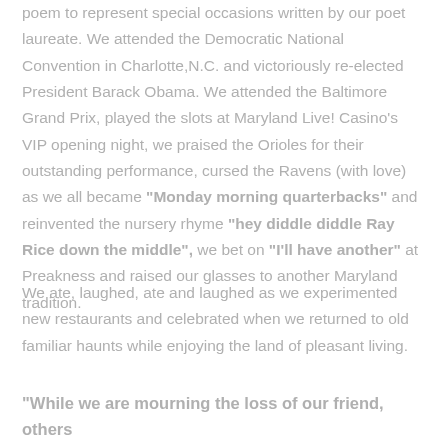poem to represent special occasions written by our poet laureate. We attended the Democratic National Convention in Charlotte,N.C. and victoriously re-elected President Barack Obama. We attended the Baltimore Grand Prix, played the slots at Maryland Live! Casino's VIP opening night, we praised the Orioles for their outstanding performance, cursed the Ravens (with love) as we all became "Monday morning quarterbacks" and reinvented the nursery rhyme "hey diddle diddle Ray Rice down the middle", we bet on "I'll have another" at Preakness and raised our glasses to another Maryland tradition.
We ate, laughed, ate and laughed as we experimented new restaurants and celebrated when we returned to old familiar haunts while enjoying the land of pleasant living.
"While we are mourning the loss of our friend, others